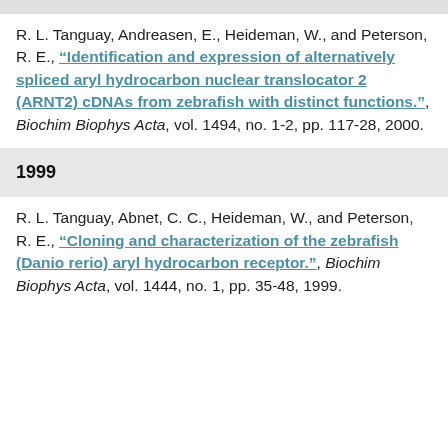R. L. Tanguay, Andreasen, E., Heideman, W., and Peterson, R. E., "Identification and expression of alternatively spliced aryl hydrocarbon nuclear translocator 2 (ARNT2) cDNAs from zebrafish with distinct functions.", Biochim Biophys Acta, vol. 1494, no. 1-2, pp. 117-28, 2000.
1999
R. L. Tanguay, Abnet, C. C., Heideman, W., and Peterson, R. E., "Cloning and characterization of the zebrafish (Danio rerio) aryl hydrocarbon receptor.", Biochim Biophys Acta, vol. 1444, no. 1, pp. 35-48, 1999.